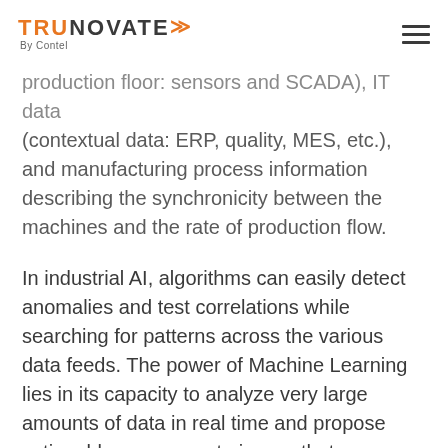TRUNOVATE™ By Contel
production floor: sensors and SCADA), IT data (contextual data: ERP, quality, MES, etc.), and manufacturing process information describing the synchronicity between the machines and the rate of production flow.
In industrial AI, algorithms can easily detect anomalies and test correlations while searching for patterns across the various data feeds. The power of Machine Learning lies in its capacity to analyze very large amounts of data in real time and propose actionable responses to issues that may arise.